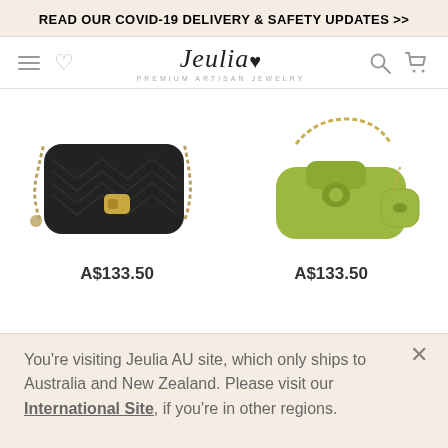READ OUR COVID-19 DELIVERY & SAFETY UPDATES >>
[Figure (screenshot): Jeulia website navigation bar with hamburger menu, heart icon, Jeulia logo with subtitle 'PREMIUM ARTISAN JEWELRY', search icon, and cart icon]
[Figure (photo): Black quilted chevron pattern crossbody bag with gold chain strap and gold clasp]
[Figure (photo): Olive/lime green shoulder bag with small pouch attached, gold chain strap]
A$133.50
A$133.50
You're visiting Jeulia AU site, which only ships to Australia and New Zealand. Please visit our International Site, if you're in other regions.